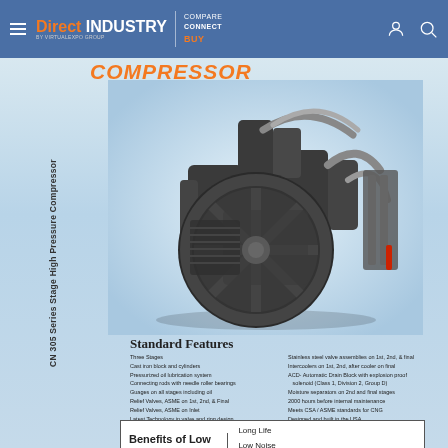Direct Industry | COMPARE CONNECT BUY
[Figure (photo): CN 305 Series Stage High Pressure Compressor product image showing a large industrial reciprocating compressor with a prominent spoke flywheel, multiple cylinders, intercoolers, and piping on a light blue gradient background. Text 'COMPRESSOR' appears in orange at the top. Rotated text on the left reads 'CN 305 Series Stage High Pressure Compressor'.]
Standard Features
Three Stages
Cast iron block and cylinders
Pressurized oil lubrication system
Connecting rods with needle roller bearings
Guages on all stages including oil
Relief Valves, ASME on 1st, 2nd, & Final
Relief Valves, ASME on Inlet
Latest Technology in valve and ring design
Stainless steel valve assemblies on 1st, 2nd, & final
Intercoolers on 1st, 2nd, after cooler on final
ACD- Automatic Drain Block with explosion proof solenoid (Class 1, Division 2, Group D)
Moisture separators on 2nd and final stages
2000 hours before internal maintenance
Meets CSA / ASME standards for CNG
Designed and built in the USA
Benefits of Low RPM Technology | Long Life Low Noise High Efficiency with Reduced Heat